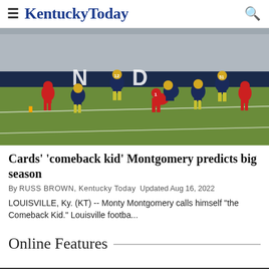KentuckyToday
[Figure (photo): Football players in action on the field — players in navy/gold uniforms and red uniforms tackling during a game]
Cards' 'comeback kid' Montgomery predicts big season
By RUSS BROWN, Kentucky Today  Updated Aug 16, 2022
LOUISVILLE, Ky. (KT) -- Monty Montgomery calls himself "the Comeback Kid." Louisville footba...
Online Features